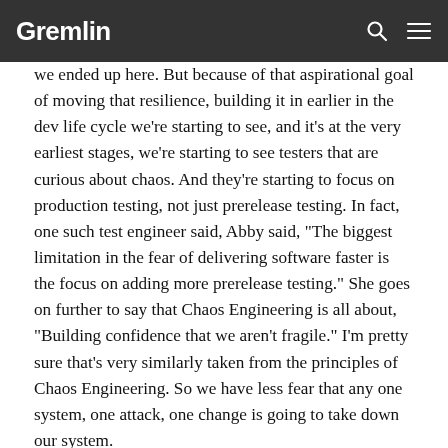Gremlin
we ended up here. But because of that aspirational goal of moving that resilience, building it in earlier in the dev life cycle we're starting to see, and it's at the very earliest stages, we're starting to see testers that are curious about chaos. And they're starting to focus on production testing, not just prerelease testing. In fact, one such test engineer said, Abby said, "The biggest limitation in the fear of delivering software faster is the focus on adding more prerelease testing." She goes on further to say that Chaos Engineering is all about, "Building confidence that we aren't fragile." I'm pretty sure that's very similarly taken from the principles of Chaos Engineering. So we have less fear that any one system, one attack, one change is going to take down our system.
Okay, so why aren't more testers doing chaos today? I've talked to some testers who are curious about chaos, but